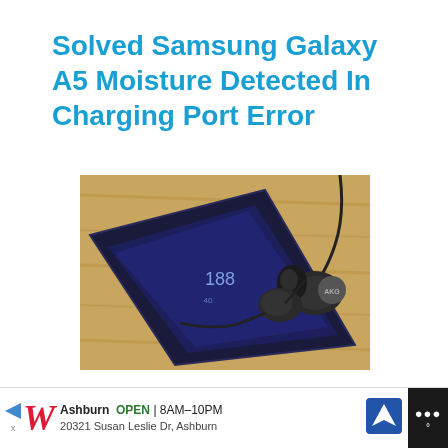Solved Samsung Galaxy A5 Moisture Detected In Charging Port Error
[Figure (photo): Samsung Galaxy S8 smartphone lying on a wooden surface with AKG earphones/earbuds resting on top of it. The phone screen shows the time and the earbuds are black with silver accents.]
Galaxy S8 Plus showing “moisture detected” error after an update and keeps
Ashburn  OPEN | 8AM–10PM  20321 Susan Leslie Dr, Ashburn